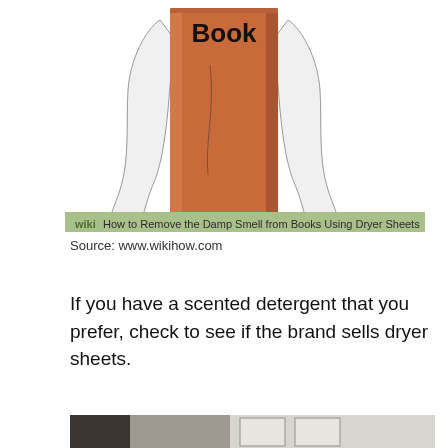[Figure (illustration): WikiHow illustration of a book wrapped in dryer sheets. An orange/copper colored book is shown standing upright, wrapped in a white dryer sheet. The book spine faces forward with the word 'Book' visible at the top. A green WikiHow banner at the bottom reads 'How to Remove the Damp Smell from Books Using Dryer Sheets'.]
Source: www.wikihow.com
If you have a scented detergent that you prefer, check to see if the brand sells dryer sheets.
[Figure (photo): Partial photo of a room interior, cropped at bottom of page.]